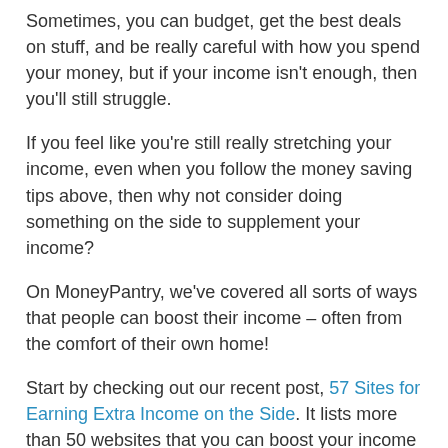Sometimes, you can budget, get the best deals on stuff, and be really careful with how you spend your money, but if your income isn't enough, then you'll still struggle.
If you feel like you're still really stretching your income, even when you follow the money saving tips above, then why not consider doing something on the side to supplement your income?
On MoneyPantry, we've covered all sorts of ways that people can boost their income – often from the comfort of their own home!
Start by checking out our recent post, 57 Sites for Earning Extra Income on the Side. It lists more than 50 websites that you can boost your income – all from the comfort of your own home.
And, if you're on maternity leave right now, or you plan to be a